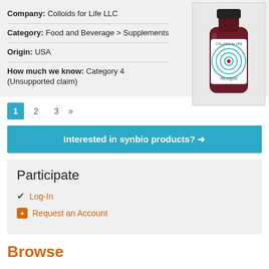Company: Colloids for Life LLC
Category: Food and Beverage > Supplements
Origin: USA
How much we know: Category 4 (Unsupported claim)
[Figure (photo): Photo of a dark red/pink bottle with a label reading 'COLLOIDS for LIFE Mesogold']
1 2 3 »
Interested in synbio products? →
Participate
Log-In
Request an Account
Browse